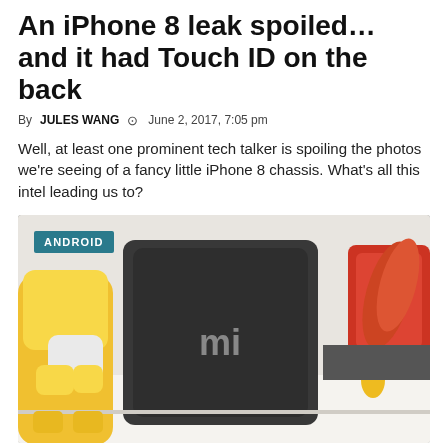An iPhone 8 leak spoiled… and it had Touch ID on the back
By JULES WANG  ⊙ June 2, 2017, 7:05 pm
Well, at least one prominent tech talker is spoiling the photos we're seeing of a fancy little iPhone 8 chassis. What's all this intel leading us to?
[Figure (photo): Photo of a Xiaomi Mi device (dark rectangle with Mi logo) surrounded by colorful toy figurines on a white surface. An ANDROID badge overlay appears in the top left.]
Xiaomi, did you not learn from